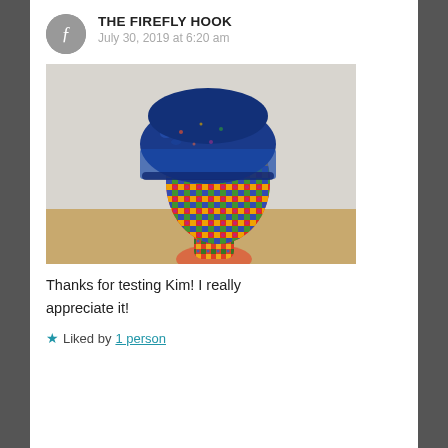THE FIREFLY HOOK — July 30, 2019 at 6:20 am
[Figure (photo): A blue knitted/crocheted beanie hat displayed on a decorative mannequin head covered in comic book print, photographed against a textured white wall on a wooden surface.]
Thanks for testing Kim! I really appreciate it!
★ Liked by 1 person